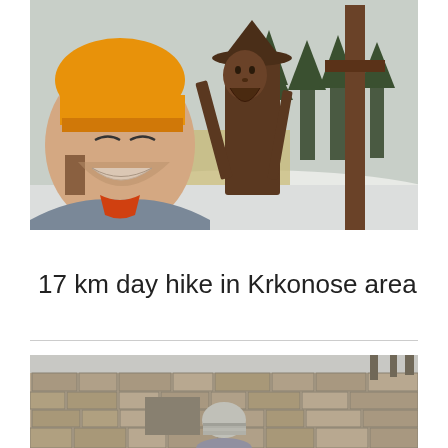[Figure (photo): Selfie of a smiling man with a beard wearing an orange beanie hat, standing next to a large dark wooden carved sculpture of a figure with a hat and staff, in a snowy winter landscape with pine trees in the background.]
17 km day hike in Krkonose area
[Figure (photo): A person in a light knit hat standing in front of ruins of an old stone wall building, photographed from behind. Bare trees visible in the background.]